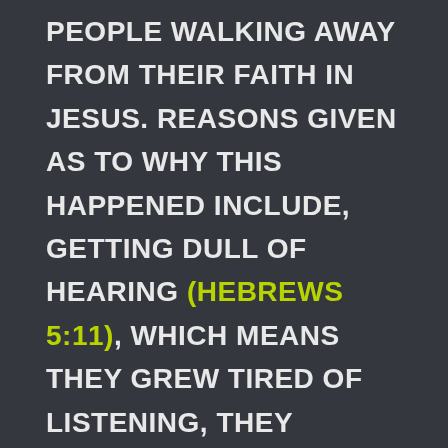people walking away from their faith in Jesus. Reasons given as to why this happened include, getting dull of hearing (Hebrews 5:11), which means they grew tired of listening, they stopped progressing in their study of the Bible (Hebrews 5:12) and they stopped gathering together as the church.